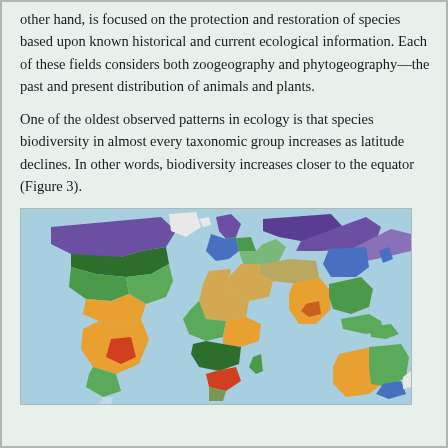other hand, is focused on the protection and restoration of species based upon known historical and current ecological information. Each of these fields considers both zoogeography and phytogeography—the past and present distribution of animals and plants.
One of the oldest observed patterns in ecology is that species biodiversity in almost every taxonomic group increases as latitude declines. In other words, biodiversity increases closer to the equator (Figure 3).
[Figure (map): A world map showing biome/biodiversity regions with different colors representing different ecological zones. Regions near the equator show higher diversity (orange, red, green) while polar regions show lower diversity (white, purple, blue).]